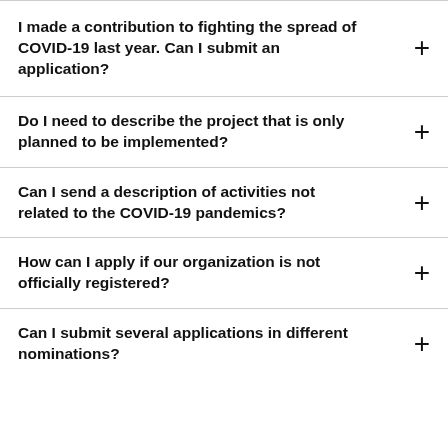I made a contribution to fighting the spread of COVID-19 last year. Can I submit an application?
Do I need to describe the project that is only planned to be implemented?
Can I send a description of activities not related to the COVID-19 pandemics?
How can I apply if our organization is not officially registered?
Can I submit several applications in different nominations?